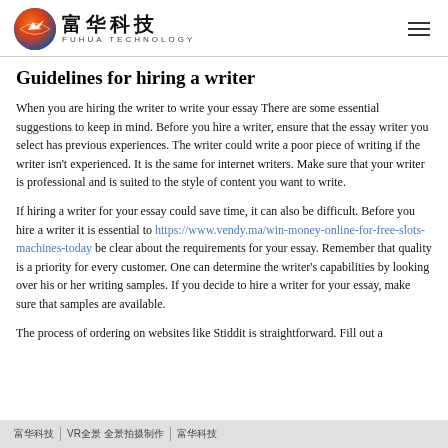富华科技 FUHUA TECHNOLOGY
Guidelines for hiring a writer
When you are hiring the writer to write your essay There are some essential suggestions to keep in mind. Before you hire a writer, ensure that the essay writer you select has previous experiences. The writer could write a poor piece of writing if the writer isn't experienced. It is the same for internet writers. Make sure that your writer is professional and is suited to the style of content you want to write.
If hiring a writer for your essay could save time, it can also be difficult. Before you hire a writer it is essential to https://www.vendy.ma/win-money-online-for-free-slots-machines-today be clear about the requirements for your essay. Remember that quality is a priority for every customer. One can determine the writer's capabilities by looking over his or her writing samples. If you decide to hire a writer for your essay, make sure that samples are available.
The process of ordering on websites like Stiddit is straightforward. Fill out a
富华科技  VR全景 全景拍摄制作  富华科技